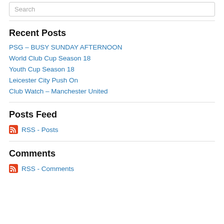Search
Recent Posts
PSG – BUSY SUNDAY AFTERNOON
World Club Cup Season 18
Youth Cup Season 18
Leicester City Push On
Club Watch – Manchester United
Posts Feed
RSS - Posts
Comments
RSS - Comments